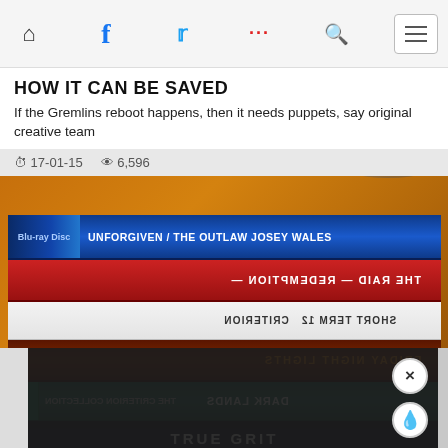Navigation bar with home, facebook, twitter, dots, search icons and hamburger menu
HOW IT CAN BE SAVED
If the Gremlins reboot happens, then it needs puppets, say original creative team
17-01-15  6,596
[Figure (photo): Stack of Blu-ray disc cases photographed from the side showing spines: UNFORGIVEN / THE OUTLAW JOSEY WALES, THE RAID: REDEMPTION (reversed), SHORT TERM 12 (reversed), FRIDAY NIGHT LIGHTS (reversed), Criterion Collection title (reversed), TRUE GRIT]
[Figure (screenshot): Dark overlay panel at bottom with close X button and fire/droplet icon button]